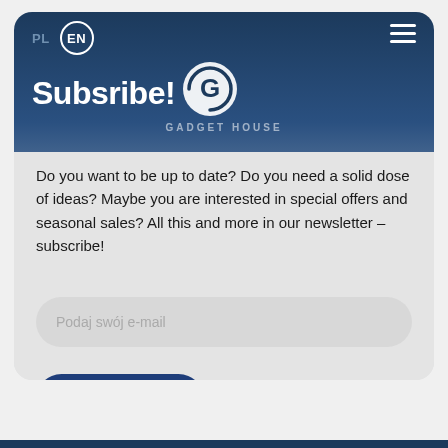PL  EN
[Figure (logo): Gadget House logo — circular G icon with text 'GADGET HOUSE' below]
Subsribe!
Do you want to be up to date? Do you need a solid dose of ideas? Maybe you are interested in special offers and seasonal sales? All this and more in our newsletter – subscribe!
Podaj swój e-mail
Zapisz mnie